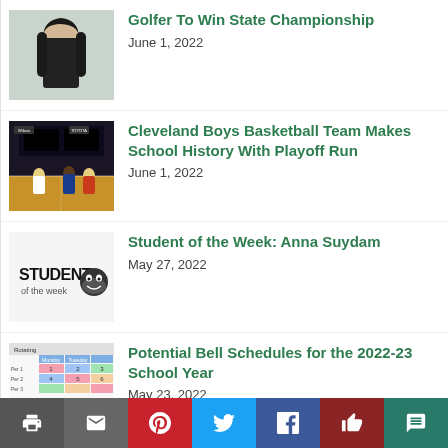[Figure (photo): Photo of a female student golfer smiling, wearing a dark sweatshirt]
Golfer To Win State Championship
June 1, 2022
[Figure (photo): Basketball game photo showing players on court with scoreboard in background, Wilson and Toyota logos visible]
Cleveland Boys Basketball Team Makes School History With Playoff Run
June 1, 2022
[Figure (logo): Student of the Week logo with stylized text and mascot graphic]
Student of the Week: Anna Suydam
May 27, 2022
[Figure (screenshot): Screenshot of a colorful bell schedule table with alternating colored rows in pink, blue, and green]
Potential Bell Schedules for the 2022-23 School Year
May 23, 2022